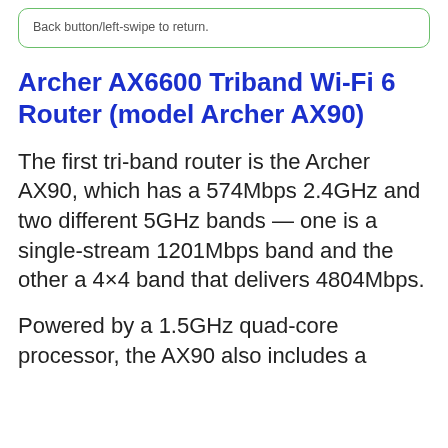Back button/left-swipe to return.
Archer AX6600 Triband Wi-Fi 6 Router (model Archer AX90)
The first tri-band router is the Archer AX90, which has a 574Mbps 2.4GHz and two different 5GHz bands — one is a single-stream 1201Mbps band and the other a 4×4 band that delivers 4804Mbps.
Powered by a 1.5GHz quad-core processor, the AX90 also includes a